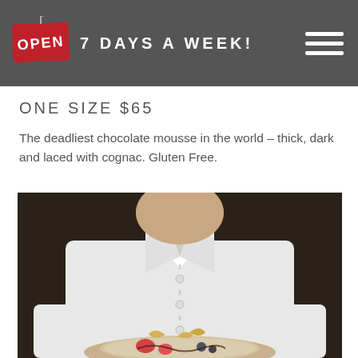OPEN 7 DAYS A WEEK!
ONE SIZE $65
The deadliest chocolate mousse in the world – thick, dark and laced with cognac. Gluten Free.
[Figure (photo): Chef in white uniform holding a dessert plate with chocolate mousse garnished with strawberries, blueberries, and decorative toppings]